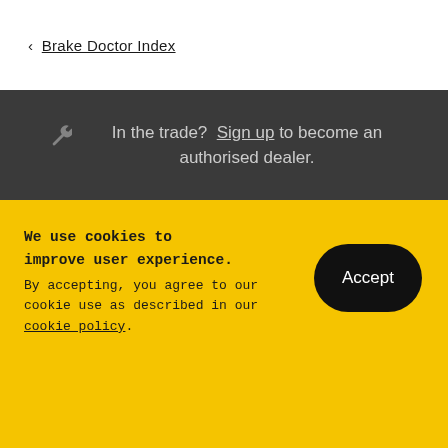< Brake Doctor Index
In the trade? Sign up to become an authorised dealer.
We use cookies to improve user experience. By accepting, you agree to our cookie use as described in our cookie policy.